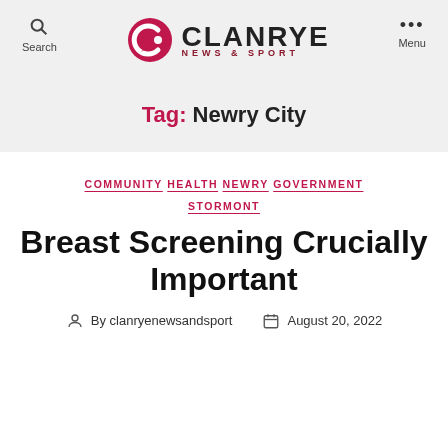CLANRYE NEWS & SPORT
Tag: Newry City
COMMUNITY HEALTH NEWRY GOVERNMENT STORMONT
Breast Screening Crucially Important
By clanryenewsandsport  August 20, 2022